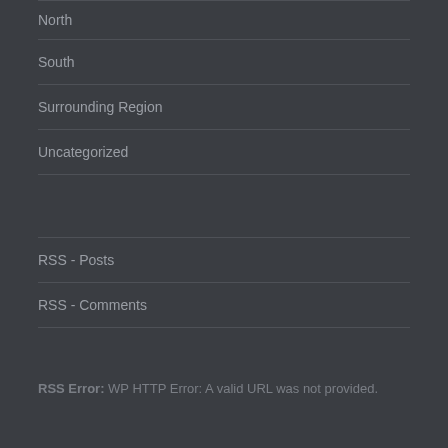North
South
Surrounding Region
Uncategorized
RSS - Posts
RSS - Comments
RSS Error: WP HTTP Error: A valid URL was not provided.